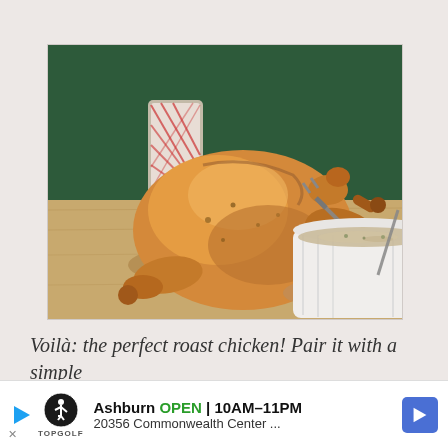[Figure (photo): A golden roast chicken on a wooden cutting board, with a white ramekin of gravy/sauce and a fork. A spool of red and white baker's twine is visible in the background against a dark green wall.]
Voilà: the perfect roast chicken! Pair it with a simple salad                                                y to a
[Figure (other): Advertisement banner for Topgolf Ashburn showing OPEN 10AM-11PM, address 20356 Commonwealth Center..., with Topgolf logo and a blue navigation arrow icon.]